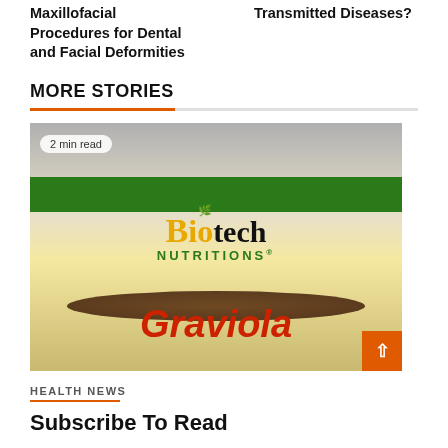Maxillofacial Procedures for Dental and Facial Deformities
Transmitted Diseases?
MORE STORIES
[Figure (photo): Product image of Biotech Nutritions Graviola supplement with chocolate, showing the product can label with green band at top and the brand name and product name in yellow/red text.]
2 min read
HEALTH NEWS
Subscribe To Read